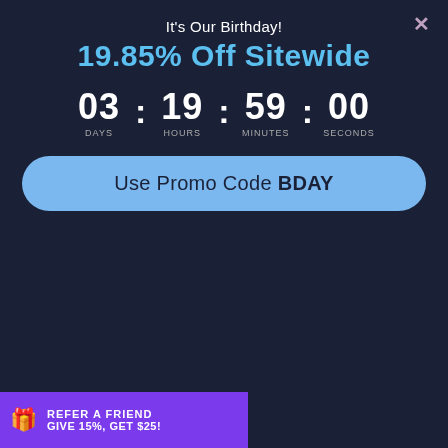It's Our Birthday!
19.85% Off Sitewide
03 : 19 : 59 : 00 DAYS HOURS MINUTES SECONDS
Use Promo Code BDAY
[Figure (logo): Gerry Grossman Seminars logo with two figures inside a circle]
GERRY GROSSMAN SEMINARS
12304 Santa Monica Blvd., Suite 214  Los Angeles, CA 90025
(310) 820-6322  (800) 300-6322  Fax (310) 820-4432
E-MAIL: ggs@gerrygrossman.com  WEBPAGE: www.gerrygrossman.com
© 2011 – 2014 by Gerry Grossman Seminars. All rights reserved.
No part of this workbook may be transmitted or reproduced in any form,
or by any means, mechanical or electronic, including photocopying and scanning without written permission of the author.
All characters herein are fictional. Any resemblance to real persons is unintentional.
These descriptions may not be reproduced or used for any purpose without expressed prior written consent.
Mental Status Exam Text-based
1 CE) - Printed
REFER A FRIEND
GIVE 15%, GET $25!